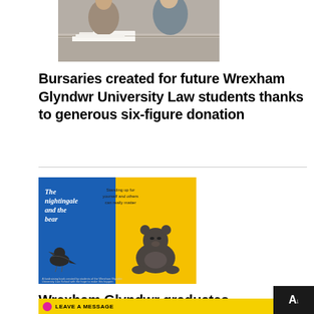[Figure (photo): Two people sitting at a desk, appearing to sign or review documents]
Bursaries created for future Wrexham Glyndwr University Law students thanks to generous six-figure donation
[Figure (photo): Book cover for 'The nightingale and the bear' showing a blue and yellow cover with a bird and a bear illustration]
Wrexham Glyndwr graduates lends artistic talents to fundraising efforts for the Ukraine